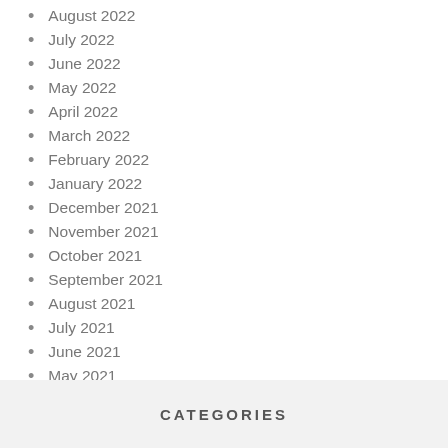August 2022
July 2022
June 2022
May 2022
April 2022
March 2022
February 2022
January 2022
December 2021
November 2021
October 2021
September 2021
August 2021
July 2021
June 2021
May 2021
April 2021
March 2021
CATEGORIES